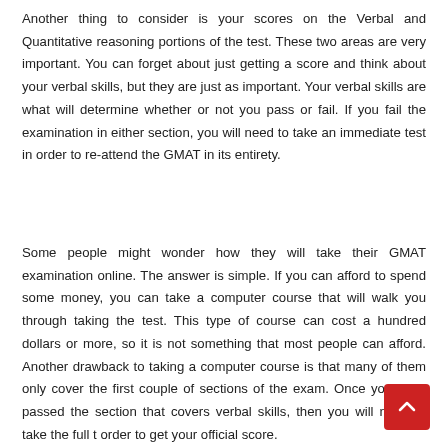Another thing to consider is your scores on the Verbal and Quantitative reasoning portions of the test. These two areas are very important. You can forget about just getting a score and think about your verbal skills, but they are just as important. Your verbal skills are what will determine whether or not you pass or fail. If you fail the examination in either section, you will need to take an immediate test in order to re-attend the GMAT in its entirety.
Some people might wonder how they will take their GMAT examination online. The answer is simple. If you can afford to spend some money, you can take a computer course that will walk you through taking the test. This type of course can cost a hundred dollars or more, so it is not something that most people can afford. Another drawback to taking a computer course is that many of them only cover the first couple of sections of the exam. Once you have passed the section that covers verbal skills, then you will need to take the full t… order to get your official score.